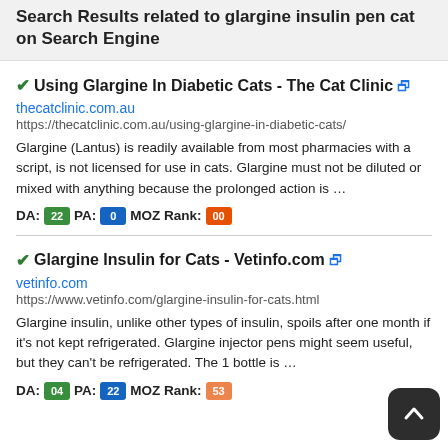Search Results related to glargine insulin pen cat on Search Engine
✔Using Glargine In Diabetic Cats - The Cat Clinic 🔗
thecatclinic.com.au
https://thecatclinic.com.au/using-glargine-in-diabetic-cats/
Glargine (Lantus) is readily available from most pharmacies with a script, is not licensed for use in cats. Glargine must not be diluted or mixed with anything because the prolonged action is …
DA: 22 PA: 0 MOZ Rank: 00
✔Glargine Insulin for Cats - Vetinfo.com 🔗
vetinfo.com
https://www.vetinfo.com/glargine-insulin-for-cats.html
Glargine insulin, unlike other types of insulin, spoils after one month if it's not kept refrigerated. Glargine injector pens might seem useful, but they can't be refrigerated. The 1 bottle is …
DA: 04 PA: 22 MOZ Rank: 53